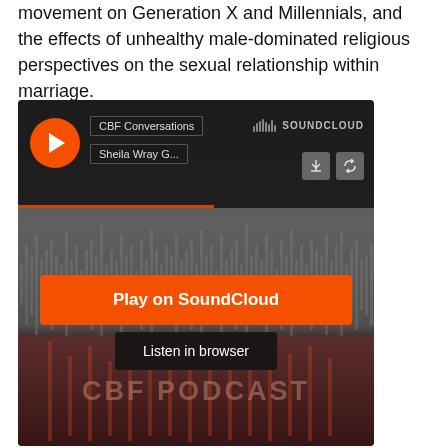movement on Generation X and Millennials, and the effects of unhealthy male-dominated religious perspectives on the sexual relationship within marriage.
[Figure (screenshot): SoundCloud embedded player widget showing CBF Conversations podcast by Sheila Wray G..., with a play button, SoundCloud logo, download and share buttons, a waveform background, an orange 'Play on SoundCloud' button, a 'Listen in browser' button, and a CBF Podcast branding panel at the bottom.]